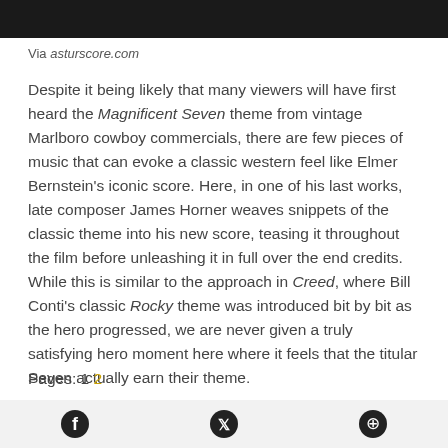[Figure (photo): Dark photograph banner at the top of the page showing people in low light]
Via asturscore.com
Despite it being likely that many viewers will have first heard the Magnificent Seven theme from vintage Marlboro cowboy commercials, there are few pieces of music that can evoke a classic western feel like Elmer Bernstein's iconic score. Here, in one of his last works, late composer James Horner weaves snippets of the classic theme into his new score, teasing it throughout the film before unleashing it in full over the end credits. While this is similar to the approach in Creed, where Bill Conti's classic Rocky theme was introduced bit by bit as the hero progressed, we are never given a truly satisfying hero moment here where it feels that the titular Seven actually earn their theme.
Pages: 1 2
[Figure (other): Social media icons bar at the bottom: Facebook, Twitter, Pinterest]